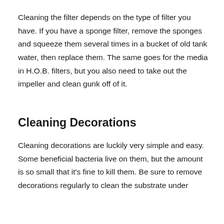Cleaning the filter depends on the type of filter you have. If you have a sponge filter, remove the sponges and squeeze them several times in a bucket of old tank water, then replace them. The same goes for the media in H.O.B. filters, but you also need to take out the impeller and clean gunk off of it.
Cleaning Decorations
Cleaning decorations are luckily very simple and easy. Some beneficial bacteria live on them, but the amount is so small that it's fine to kill them. Be sure to remove decorations regularly to clean the substrate under